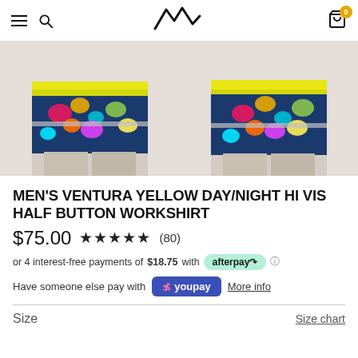Navigation bar with menu, search, logo, and cart (0 items)
[Figure (photo): Two product photos of a man wearing the Men's Ventura Yellow Day/Night Hi Vis Half Button Workshirt — front and back views showing colourful printed fabric with yellow hi-vis shoulders and reflective tape.]
MEN'S VENTURA YELLOW DAY/NIGHT HI VIS HALF BUTTON WORKSHIRT
$75.00  ★★★★★  (80)
or 4 interest-free payments of $18.75 with afterpay ℹ
Have someone else pay with YouPay  More info
Size    Size chart